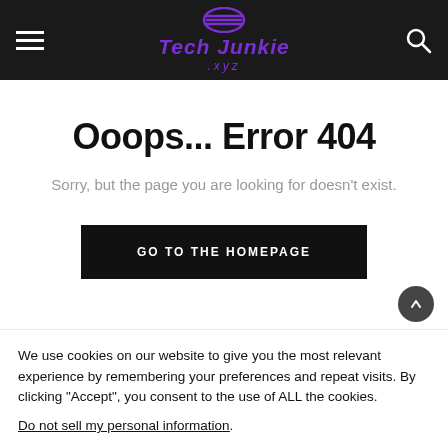Tech Junkie .xyz — navigation header with hamburger menu and search icon
Ooops... Error 404
Sorry, but the page you are looking for doesn't exist.
GO TO THE HOMEPAGE
We use cookies on our website to give you the most relevant experience by remembering your preferences and repeat visits. By clicking “Accept”, you consent to the use of ALL the cookies.
Do not sell my personal information.